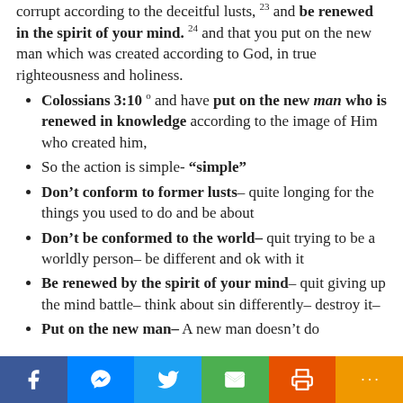corrupt according to the deceitful lusts, 23 and be renewed in the spirit of your mind. 24 and that you put on the new man which was created according to God, in true righteousness and holiness.
Colossians 3:10 0 and have put on the new man who is renewed in knowledge according to the image of Him who created him,
So the action is simple- “simple”
Don’t conform to former lusts– quite longing for the things you used to do and be about
Don’t be conformed to the world– quit trying to be a worldly person– be different and ok with it
Be renewed by the spirit of your mind– quit giving up the mind battle– think about sin differently– destroy it–
Put on the new man– A new man doesn’t do